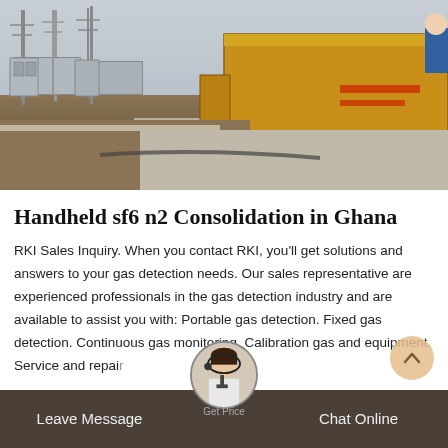[Figure (photo): Outdoor industrial scene showing a yellow truck/container near electrical substation equipment, with a worker in blue visible on the right. Ground shows dirt and concrete areas with cables running across.]
Handheld sf6 n2 Consolidation in Ghana
RKI Sales Inquiry. When you contact RKI, you'll get solutions and answers to your gas detection needs. Our sales representative are experienced professionals in the gas detection industry and are available to assist you with: Portable gas detection. Fixed gas detection. Continuous gas monitoring. Calibration gas and equipment. Service and repair
Leave Message  Chat Online